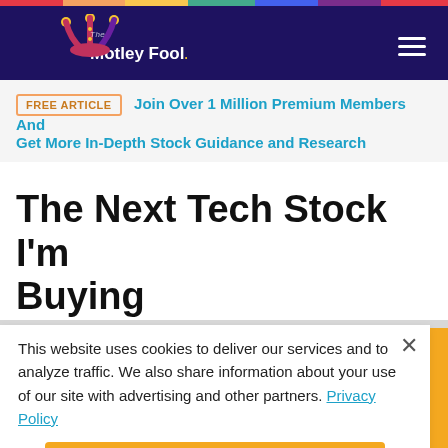The Motley Fool
FREE ARTICLE | Join Over 1 Million Premium Members And Get More In-Depth Stock Guidance and Research
The Next Tech Stock I'm Buying
This website uses cookies to deliver our services and to analyze traffic. We also share information about your use of our site with advertising and other partners. Privacy Policy
Got it
Cookie Settings